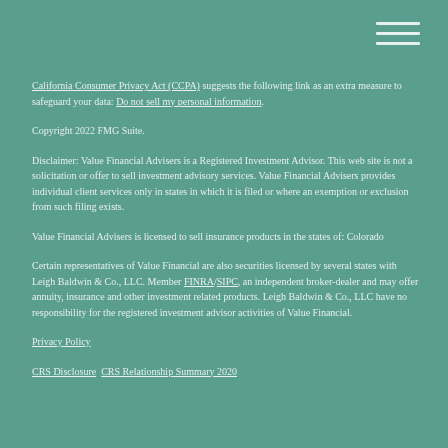California Consumer Privacy Act (CCPA) suggests the following link as an extra measure to safeguard your data: Do not sell my personal information.
Copyright 2022 FMG Suite.
Disclaimer: Value Financial Advisers is a Registered Investment Advisor. This web site is not a solicitation or offer to sell investment advisory services. Value Financial Advisers provides individual client services only in states in which it is filed or where an exemption or exclusion from such filing exists.
Value Financial Advisers is licensed to sell insurance products in the states of: Colorado
Certain representatives of Value Financial are also securities licensed by several states with Leigh Baldwin & Co., LLC. Member FINRA/SIPC, an independent broker-dealer and may offer annuity, insurance and other investment related products. Leigh Baldwin & Co., LLC have no responsibility for the registered investment advisor activities of Value Financial.
Privacy Policy
CRS Disclosure  CRS Relationship Summary 2020